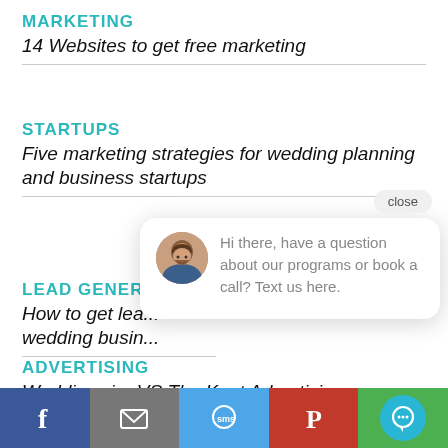MARKETING
14 Websites to get free marketing
STARTUPS
Five marketing strategies for wedding planning and business startups
LEAD GENE...
How to get lea... wedding busin...
ADVERTISING
Weddingwire VS The Knot Advertising
[Figure (screenshot): Chat popup overlay with avatar photo and message: 'Hi there, have a question about our programs or book a call? Text us here.' with a close button]
[Figure (infographic): Bottom social share bar with Facebook, Email, SMS, Pinterest, and chat buttons]